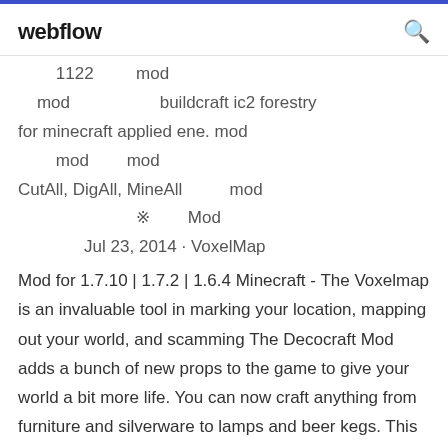webflow
1122  mod
mod  buildcraft ic2 forestry for minecraft applied ene. mod
mod  mod
CutAll, DigAll, MineAll  mod
※  Mod
Jul 23, 2014 · VoxelMap Mod for 1.7.10 | 1.7.2 | 1.6.4 Minecraft - The Voxelmap is an invaluable tool in marking your location, mapping out your world, and scamming The Decocraft Mod adds a bunch of new props to the game to give your world a bit more life. You can now craft anything from furniture and silverware to lamps and beer kegs. This mod will definitely give you a lot